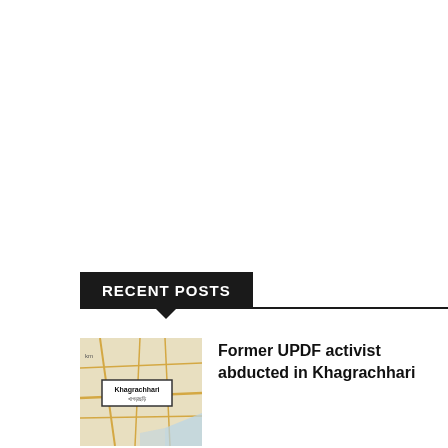RECENT POSTS
[Figure (map): Map showing Khagrachhari location with labeled rectangle marker and road network]
Former UPDF activist abducted in Khagrachhari